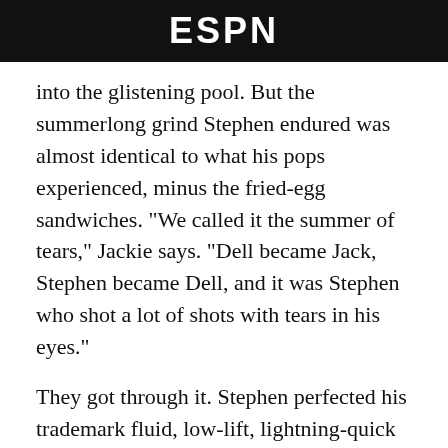ESPN
into the glistening pool. But the summerlong grind Stephen endured was almost identical to what his pops experienced, minus the fried-egg sandwiches. "We called it the summer of tears," Jackie says. "Dell became Jack, Stephen became Dell, and it was Stephen who shot a lot of shots with tears in his eyes."
They got through it. Stephen perfected his trademark fluid, low-lift, lightning-quick form and an effortless overhead swan-neck follow-through. Almost as soon as the game's greatest shot was created, however, Stephen sensed it wasn't going to be enough. Even though he had played point guard for only a year during his final season at tiny